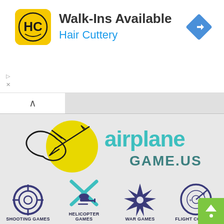[Figure (screenshot): Hair Cuttery advertisement banner with logo icon showing HC letters, text 'Walk-Ins Available' and 'Hair Cuttery' in blue, and a blue navigation/directions icon on the right]
[Figure (logo): airplanegame.us logo with yellow circle, stylized airplane sketch illustration, and teal text reading 'airplane GAME.US']
[Figure (infographic): Game category icons row: target/crosshair for SHOOTING GAMES, helicopter with teal X for HELICOPTER GAMES, explosion starburst for WAR GAMES, radar circle with airplanes for FLIGHT CONTROL]
[Figure (infographic): Bottom row of game category icons partially visible: runway/landing, cursor arrow, target with airplane, planet/orbit, and green scroll-up button]